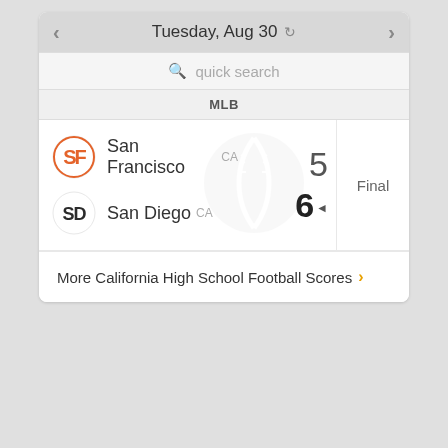Tuesday, Aug 30
quick search
MLB
| Team | State | Score | Status |
| --- | --- | --- | --- |
| San Francisco | CA | 5 | Final |
| San Diego | CA | 6 | Final |
More California High School Football Scores